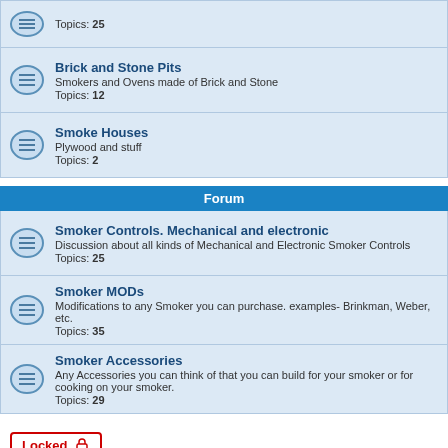Topics: 25
Brick and Stone Pits
Smokers and Ovens made of Brick and Stone
Topics: 12
Smoke Houses
Plywood and stuff
Topics: 2
Forum
Smoker Controls. Mechanical and electronic
Discussion about all kinds of Mechanical and Electronic Smoker Controls
Topics: 25
Smoker MODs
Modifications to any Smoker you can purchase. examples- Brinkman, Weber, etc.
Topics: 35
Smoker Accessories
Any Accessories you can think of that you can build for your smoker or for cooking on your smoker.
Topics: 29
Locked
1 topic • Page 1 of 1
Announcements